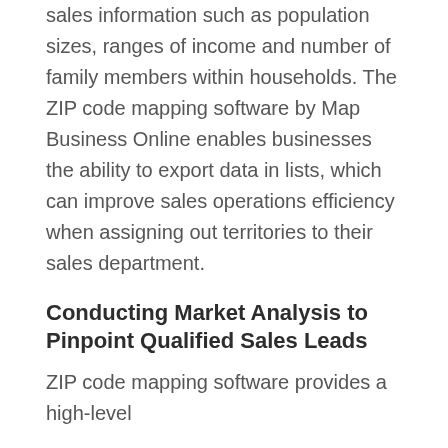sales information such as population sizes, ranges of income and number of family members within households. The ZIP code mapping software by Map Business Online enables businesses the ability to export data in lists, which can improve sales operations efficiency when assigning out territories to their sales department.
Conducting Market Analysis to Pinpoint Qualified Sales Leads
ZIP code mapping software provides a high-level